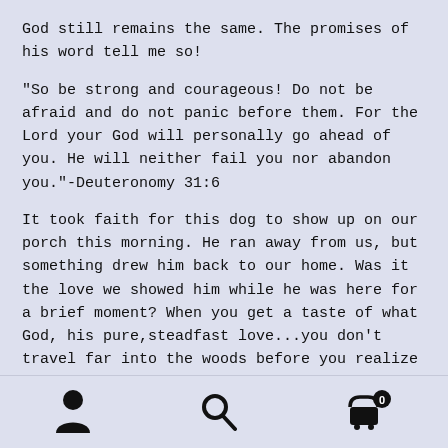God still remains the same. The promises of his word tell me so!
"So be strong and courageous! Do not be afraid and do not panic before them. For the Lord your God will personally go ahead of you. He will neither fail you nor abandon you."-Deuteronomy 31:6
It took faith for this dog to show up on our porch this morning. He ran away from us, but something drew him back to our home. Was it the love we showed him while he was here for a brief moment? When you get a taste of what God, his pure,steadfast love...you don't travel far into the woods before you realize what you needed was back
[user icon] [search icon] [cart icon]